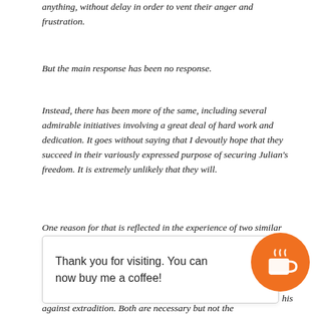anything, without delay in order to vent their anger and frustration.
But the main response has been no response.
Instead, there has been more of the same, including several admirable initiatives involving a great deal of hard work and dedication. It goes without saying that I devoutly hope that they succeed in their variously expressed purpose of securing Julian's freedom. It is extremely unlikely that they will.
One reason for that is reflected in the experience of two similar initiatives. Today, the author of one wrote … in my … omplete … his … against extradition. Both are necessary but not the
Thank you for visiting. You can now buy me a coffee!